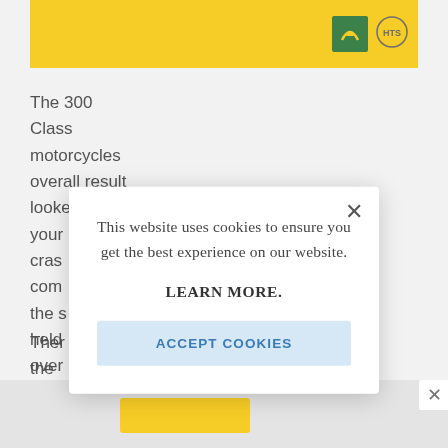[Figure (screenshot): Yellow banner with Springbok/HTS logo on right side]
The 300 Class motorcycles overall result looked like your cras com the s held over
Ther the
[Figure (screenshot): Cookie consent modal dialog reading: 'This website uses cookies to ensure you get the best experience on our website. LEARN MORE.' with an 'ACCEPT COOKIES' button and an X close button.]